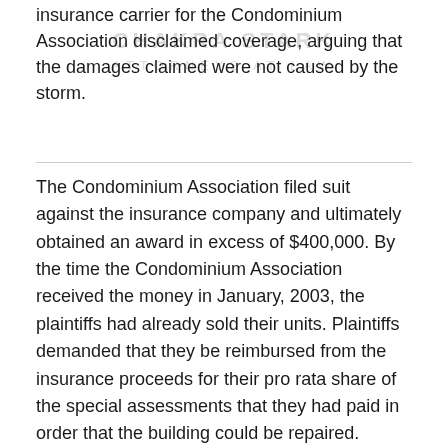insurance carrier for the Condominium Association disclaimed coverage, arguing that the damages claimed were not caused by the storm.
The Condominium Association filed suit against the insurance company and ultimately obtained an award in excess of $400,000. By the time the Condominium Association received the money in January, 2003, the plaintiffs had already sold their units. Plaintiffs demanded that they be reimbursed from the insurance proceeds for their pro rata share of the special assessments that they had paid in order that the building could be repaired. Plaintiffs relied upon N.J.S.A. 46:8B-24(a), which provides:
Damage to or destruction to any improvements on the condominium property or any part thereof or to a